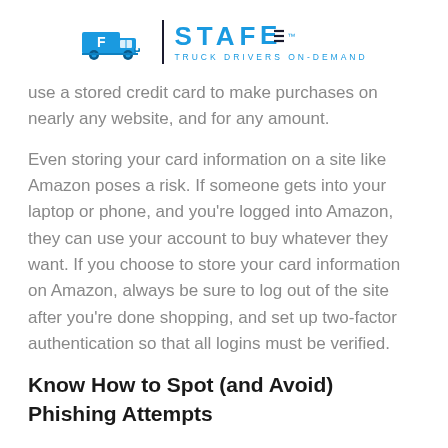[Figure (logo): AF Stafe Truck Drivers On-Demand logo with blue truck icon, vertical divider, and STAFE text with tagline]
use a stored credit card to make purchases on nearly any website, and for any amount.
Even storing your card information on a site like Amazon poses a risk. If someone gets into your laptop or phone, and you're logged into Amazon, they can use your account to buy whatever they want. If you choose to store your card information on Amazon, always be sure to log out of the site after you're done shopping, and set up two-factor authentication so that all logins must be verified.
Know How to Spot (and Avoid) Phishing Attempts